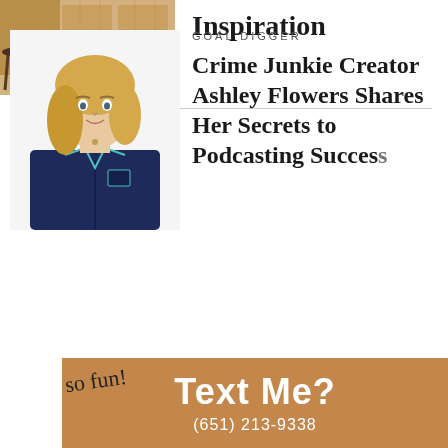[Figure (photo): Interior room photo showing wooden paneling, cabinets, and a stool]
Inspiration
[Figure (photo): Woman with blonde hair wearing a dark navy blue short-sleeve shirt, smiling slightly]
GOAL DIGGER
Crime Junkie Creator Ashley Flowers Shares Her Secrets to Podcasting Success
so fun!
Text Me?
(651) 213-9338